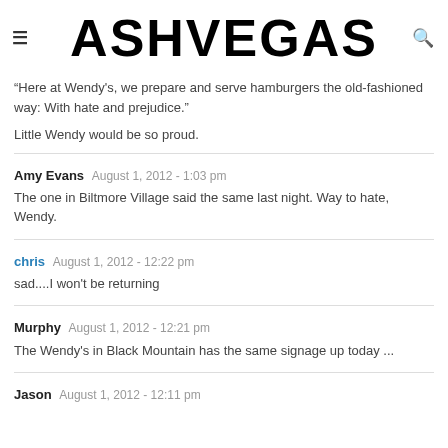ASHVEGAS
Here at Wendy's, we prepare and serve hamburgers the old-fashioned way: With hate and prejudice."
Little Wendy would be so proud.
Amy Evans  August 1, 2012 - 1:03 pm
The one in Biltmore Village said the same last night. Way to hate, Wendy.
chris  August 1, 2012 - 12:22 pm
sad....I won't be returning
Murphy  August 1, 2012 - 12:21 pm
The Wendy's in Black Mountain has the same signage up today ...
Jason  August 1, 2012 - 12:11 pm